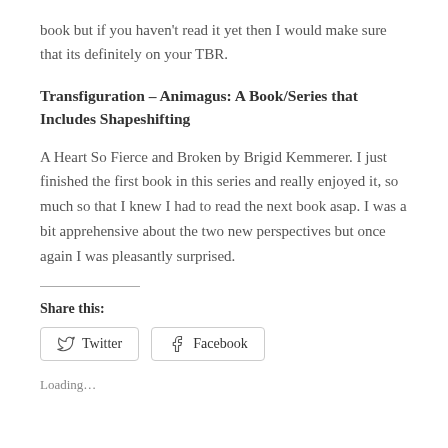book but if you haven't read it yet then I would make sure that its definitely on your TBR.
Transfiguration – Animagus: A Book/Series that Includes Shapeshifting
A Heart So Fierce and Broken by Brigid Kemmerer. I just finished the first book in this series and really enjoyed it, so much so that I knew I had to read the next book asap. I was a bit apprehensive about the two new perspectives but once again I was pleasantly surprised.
Share this:
Twitter   Facebook
Loading…